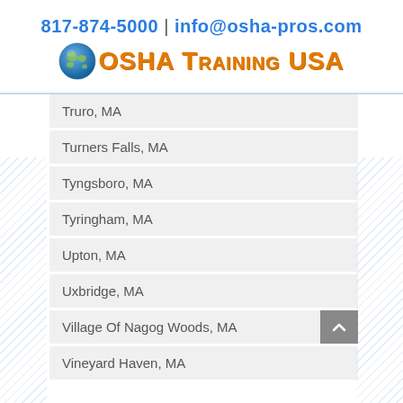817-874-5000 | info@osha-pros.com
[Figure (logo): OSHA Training USA logo with globe icon]
Truro, MA
Turners Falls, MA
Tyngsboro, MA
Tyringham, MA
Upton, MA
Uxbridge, MA
Village Of Nagog Woods, MA
Vineyard Haven, MA